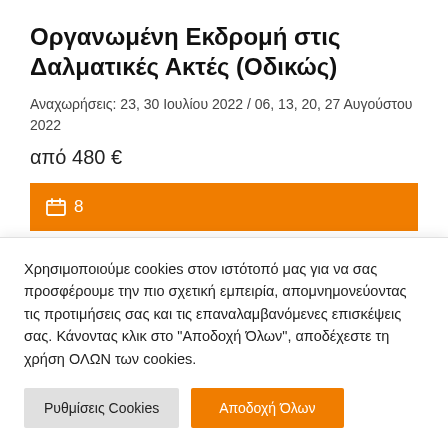Οργανωμένη Εκδρομή στις Δαλματικές Ακτές (Οδικώς)
Αναχωρήσεις: 23, 30 Ιουλίου 2022 / 06, 13, 20, 27 Αυγούστου 2022
από 480 €
[Figure (other): Orange button with calendar icon and number 8]
[Figure (other): Orange button partially visible with text Πρόγραμμα - Εξοπλισμό]
Χρησιμοποιούμε cookies στον ιστότοπό μας για να σας προσφέρουμε την πιο σχετική εμπειρία, απομνημονεύοντας τις προτιμήσεις σας και τις επαναλαμβανόμενες επισκέψεις σας. Κάνοντας κλικ στο "Αποδοχή Όλων", αποδέχεστε τη χρήση ΟΛΩΝ των cookies.
Ρυθμίσεις Cookies
Αποδοχή Όλων